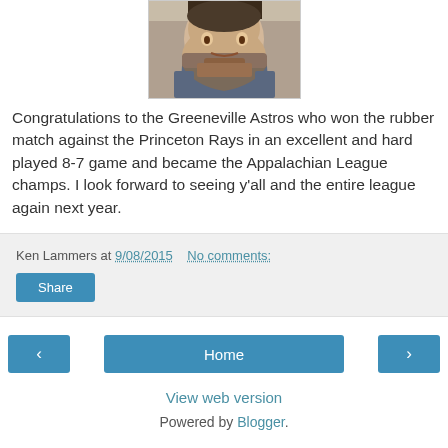[Figure (photo): Close-up photo of a man with a beard, cropped to show mostly face and upper chest]
Congratulations to the Greeneville Astros who won the rubber match against the Princeton Rays in an excellent and hard played 8-7 game and became the Appalachian League champs. I look forward to seeing y'all and the entire league again next year.
Ken Lammers at 9/08/2015   No comments:
Share
‹
Home
›
View web version
Powered by Blogger.